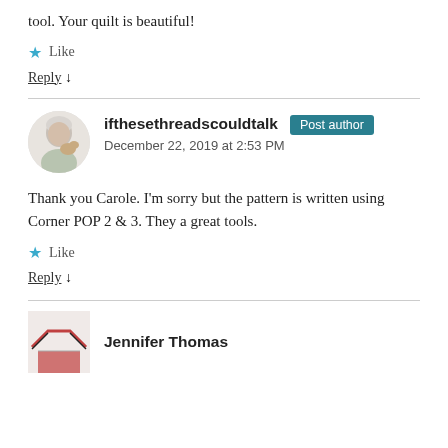tool. Your quilt is beautiful!
★ Like
Reply ↓
ifthesethreadscouldtalk  Post author
December 22, 2019 at 2:53 PM
Thank you Carole. I'm sorry but the pattern is written using Corner POP 2 & 3. They a great tools.
★ Like
Reply ↓
Jennifer Thomas